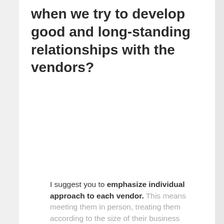when we try to develop good and long-standing relationships with the vendors?
I suggest you to emphasize individual approach to each vendor. This means meeting them in person, treating them according to the size of their business